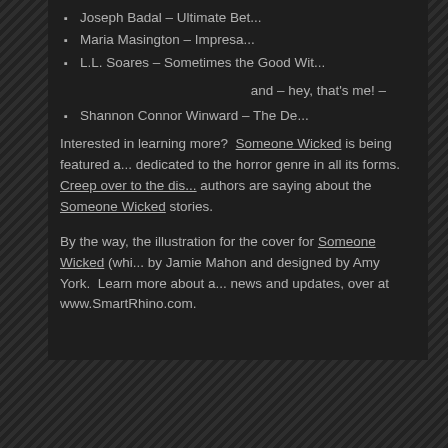Joseph Badal – Ultimate Bet...
Maria Masington – Impresa...
L.L. Soares – Sometimes the Good Wit...
and – hey, that's me! –
Shannon Connor Winward – The De...
Interested in learning more?  Someone Wicked is being featured a... dedicated to the horror genre in all its forms.  Creep over to the dis... authors are saying about the Someone Wicked stories.
By the way, the illustration for the cover for Someone Wicked (whi... by Jamie Mahon and designed by Amy York.  Learn more about a... news and updates, over at www.SmartRhino.com.